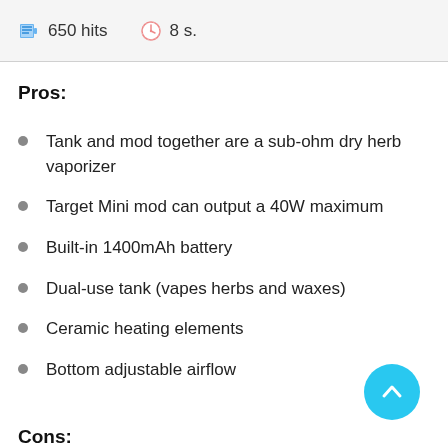650 hits  8 s.
Pros:
Tank and mod together are a sub-ohm dry herb vaporizer
Target Mini mod can output a 40W maximum
Built-in 1400mAh battery
Dual-use tank (vapes herbs and waxes)
Ceramic heating elements
Bottom adjustable airflow
Cons: